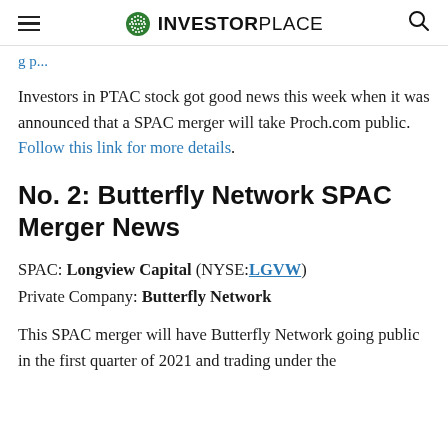INVESTORPLACE
Investors in PTAC stock got good news this week when it was announced that a SPAC merger will take Proch.com public. Follow this link for more details.
No. 2: Butterfly Network SPAC Merger News
SPAC: Longview Capital (NYSE:LGVW)
Private Company: Butterfly Network
This SPAC merger will have Butterfly Network going public in the first quarter of 2021 and trading under the